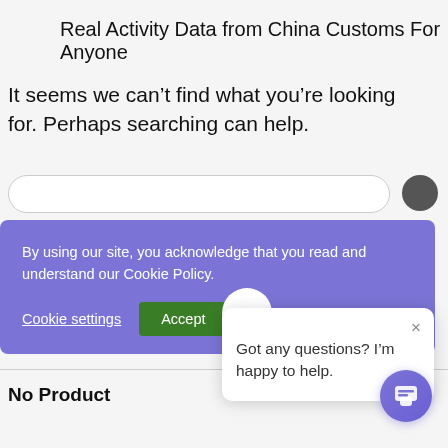Real Activity Data from China Customs For Anyone
It seems we can’t find what you’re looking for. Perhaps searching can help.
By using our site, you acknowledge that you read and understand our Cookie Policy.
Cookie settings
Accept
Got any questions? I’m happy to help.
Featured Products
No Product